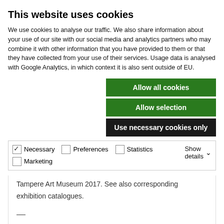This website uses cookies
We use cookies to analyse our traffic. We also share information about your use of our site with our social media and analytics partners who may combine it with other information that you have provided to them or that they have collected from your use of their services. Usage data is analysed with Google Analytics, in which context it is also sent outside of EU.
Allow all cookies
Allow selection
Use necessary cookies only
Necessary  Preferences  Statistics  Marketing  Show details
tullaan, haistatellijat modernin murroksessa in Tampere Art Museum 2017. See also corresponding exhibition catalogues.
—
Featured image: Elga Sesemann, Self-Portrait, 1945, oil on canvas, 73cm x 54cm, Finnish National